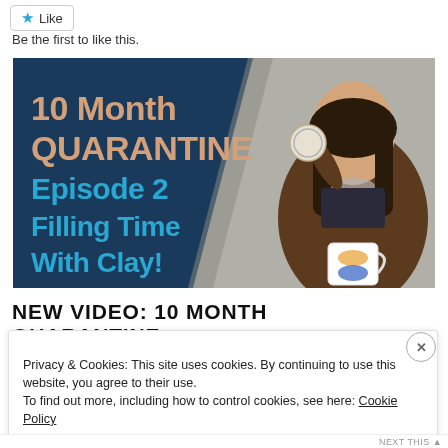[Figure (other): Like button (star icon) with label 'Like']
Be the first to like this.
[Figure (photo): Banner image for '10 Month Quarantine Episode 2 Filling Time With Clay!' with a woman holding clay items on a blue and grey background.]
NEW VIDEO: 10 MONTH QUARANTINE
Privacy & Cookies: This site uses cookies. By continuing to use this website, you agree to their use.
To find out more, including how to control cookies, see here: Cookie Policy
Close and accept